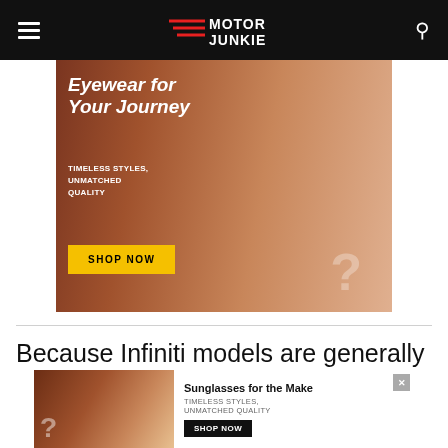[Figure (screenshot): Motor Junkie website navigation bar with hamburger menu, logo, and search icon on black background]
[Figure (photo): Advertisement banner: two women wearing stylish sunglasses on orange-brown background. Text reads 'Eyewear for Your Journey', 'TIMELESS STYLES, UNMATCHED QUALITY', with a yellow SHOP NOW button.]
Because Infiniti models are generally
Advertisement
[Figure (photo): Bottom advertisement strip showing women with sunglasses, text 'Sunglasses for the Make', 'TIMELESS STYLES, UNMATCHED QUALITY', and SHOP NOW button.]